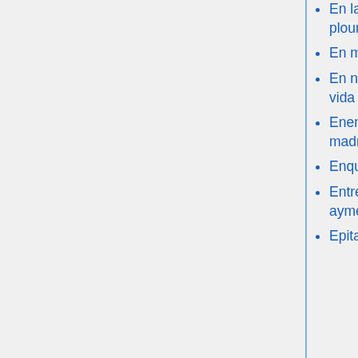En languissant plourant
En me oyant
En no me querer la vida
Enemiga le soy, madre
Enquam honesta
Entre vous qui aymés
Epitaph on Mrs
plazicita
O crux splendidior
O crux, ave!
O death rock me asleep
O Deus, ego amo te
O Dio ca fosse ciaola
O dolcezza
O Domine Iesu Christe
Jesu
nostrum gloriosum
Viva, viva Bacco
Vivo ego dicit Dominus
Voi ch'amate lo Criatore
Vos qui secuti estis
Vos, Virgen, soys nuestra Madre